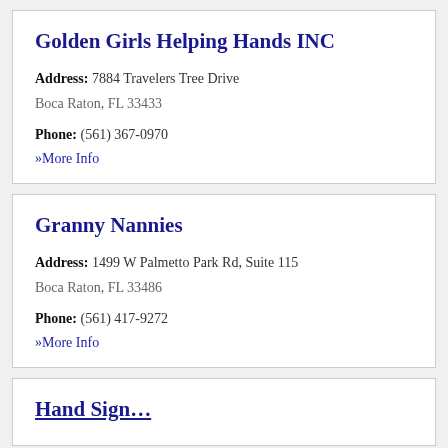Golden Girls Helping Hands INC
Address: 7884 Travelers Tree Drive
Boca Raton, FL 33433
Phone: (561) 367-0970
» More Info
Granny Nannies
Address: 1499 W Palmetto Park Rd, Suite 115
Boca Raton, FL 33486
Phone: (561) 417-9272
» More Info
Hand Sign…